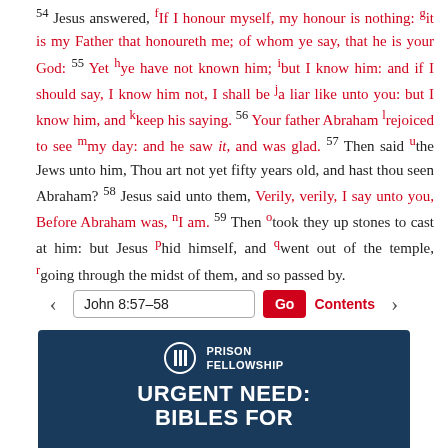54 Jesus answered, [f]If I honour myself, my honour is nothing: [g]it is my Father that honoureth me; of whom ye say, that he is your God: 55 Yet [h]ye have not known him; [i]but I know him: and if I should say, I know him not, I shall be [j]a liar like unto you: but I know him, and [k]keep his saying. 56 Your father Abraham [l]rejoiced to see [m]my day: and he saw it, and was glad. 57 Then said [u]the Jews unto him, Thou art not yet fifty years old, and hast thou seen Abraham? 58 Jesus said unto them, Verily, verily, I say unto you, Before Abraham was, [n]I am. 59 Then [o]took they up stones to cast at him: but Jesus [p]hid himself, and [q]went out of the temple, [r]going through the midst of them, and so passed by.
John 8:57–58
[Figure (other): Prison Fellowship advertisement banner with logo and text 'URGENT NEED: BIBLES FOR']